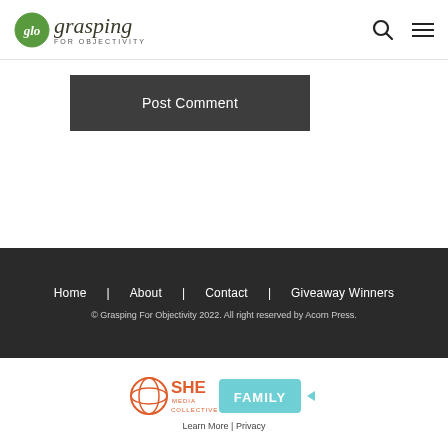glo grasping FOR OBJECTIVITY
Post Comment
Home | About | Contact | Giveaway Winners
© Grasping For Objectivity 2022. All right reserved by Acorn Press.
[Figure (logo): SHE Media Collective FAMILY badge with play button icon, followed by Learn More | Privacy links]